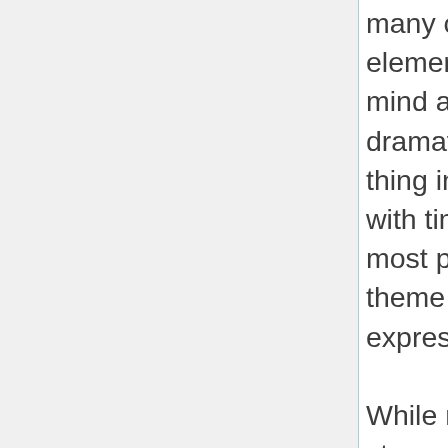many of my tales is that this element looms up in my mind as the most profoundly dramatic and grimly terrible thing in the universe. Conflict with time seems to me the most potent and fruitful theme in all human expression.

While my chosen form of story-writing is obviously a special and perhaps a narrow one, it is none the less a persistent and permanent type of expression, as old as literature itself. There will always be a small percentage of persons who feel a burning curiosity